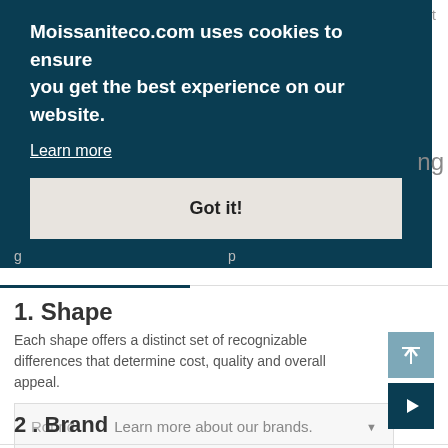This beautiful rounded cathedral Moissanite solitaire ring is cast
Moissaniteco.com uses cookies to ensure you get the best experience on our website.
Learn more
Got it!
ing
1. Shape
Each shape offers a distinct set of recognizable differences that determine cost, quality and overall appeal.
Round
2 . Brand  Learn more about our brands.